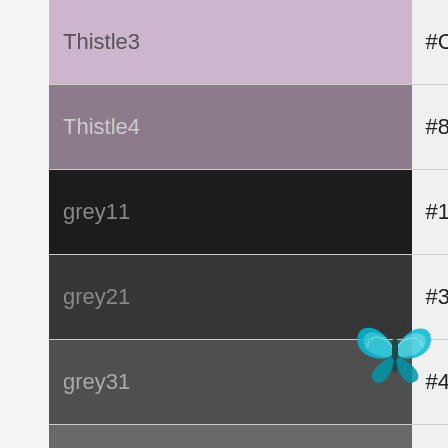| Color Name | Hex |
| --- | --- |
| Thistle3 | #CDB5CD |
| Thistle4 | #8B7B8B |
| grey11 | #1C1C1C |
| grey21 | #363636 |
| grey31 | #4F4F4F |
| grey41 | #696969 |
| grey51 | #828282 |
| grey61 | #9C9C9C |
| grey71 | #B5B5B5 |
| gray81 | #CFCFCF |
| gray91 | #E8E8E8 |
| DarkGrey | #A9A9A9 |
| DarkBlue | #00008B |
[Figure (illustration): Small blue butterfly illustration in the bottom-right area of the page]